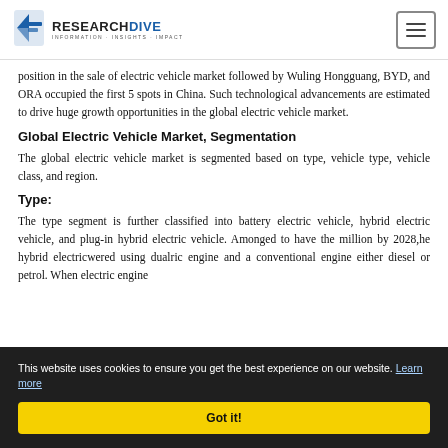RESEARCH DIVE — INFORMATION·INSIGHTS·IMPACT
position in the sale of electric vehicle market followed by Wuling Hongguang, BYD, and ORA occupied the first 5 spots in China. Such technological advancements are estimated to drive huge growth opportunities in the global electric vehicle market.
Global Electric Vehicle Market, Segmentation
The global electric vehicle market is segmented based on type, vehicle type, vehicle class, and region.
Type:
The type segment is further classified into battery electric vehicle, hybrid electric vehicle, and plug-in hybrid electric vehicle. Among [obscured by cookie banner] ed to have the [obscured] million by 2028, [obscured] he hybrid electric [obscured] wered using dual [obscured] ric engine and a conventional engine either diesel or petrol. When electric engine